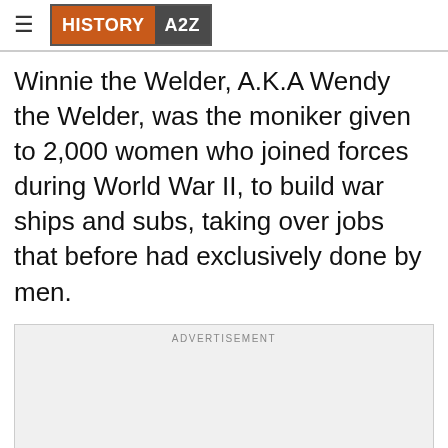HISTORY A2Z
Winnie the Welder, A.K.A Wendy the Welder, was the moniker given to 2,000 women who joined forces during World War II, to build war ships and subs, taking over jobs that before had exclusively done by men.
[Figure (other): Advertisement placeholder box with label ADVERTISEMENT]